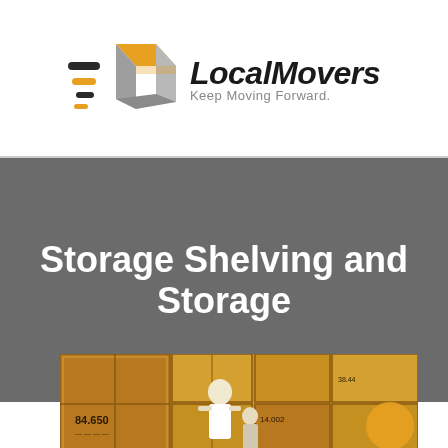[Figure (logo): LocalMovers logo with moving box graphic in orange/yellow and gray, italic bold text 'LocalMovers' with tagline 'Keep Moving Forward.']
Storage Shelving and Storage
[Figure (photo): Warehouse storage scene with large wooden crates/boxes stacked on shelves, a worker in white shirt visible, numbers '84,650' and other codes visible on boxes, warm amber/golden lighting]